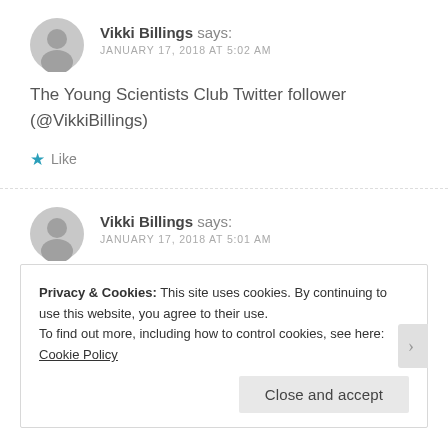Vikki Billings says: JANUARY 17, 2018 AT 5:02 AM
The Young Scientists Club Twitter follower (@VikkiBillings)
★ Like
Vikki Billings says: JANUARY 17, 2018 AT 5:01 AM
Privacy & Cookies: This site uses cookies. By continuing to use this website, you agree to their use.
To find out more, including how to control cookies, see here: Cookie Policy
Close and accept